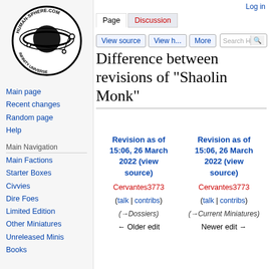[Figure (logo): Human-Sphere.com Infinity Universe circular logo with planet and orbiting elements]
Main page
Recent changes
Random page
Help
Main Navigation
Main Factions
Starter Boxes
Civvies
Dire Foes
Limited Edition
Other Miniatures
Unreleased Minis
Books
Log in
Difference between revisions of "Shaolin Monk"
| Revision as of 15:06, 26 March 2022 (view source) | Revision as of 15:06, 26 March 2022 (view source) |
| --- | --- |
| Cervantes3773 | Cervantes3773 |
| (talk | contribs) | (talk | contribs) |
| (→Dossiers) | (→Current Miniatures) |
| ← Older edit | Newer edit → |